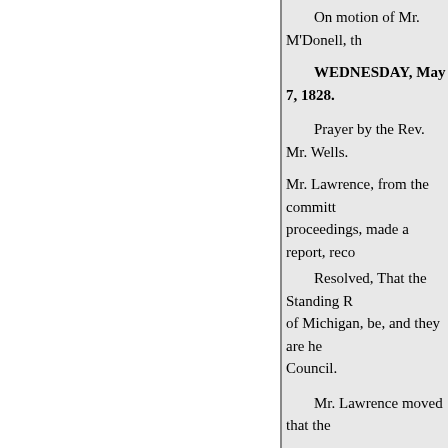On motion of Mr. M'Donell, th
WEDNESDAY, May 7, 1828.
Prayer by the Rev. Mr. Wells.
Mr. Lawrence, from the committ proceedings, made a report, reco
Resolved, That the Standing R of Michigan, be, and they are he Council.
Mr. Lawrence moved that the
Mr. Drake moved that the first R
"The Legislative Council, whe he the Chair, and who shall be style the session in which he is elected
The question on the amendme
The question on agreeing to th
On motion of Mr. Rumsey, the
The Clerk, pro tempore, hav